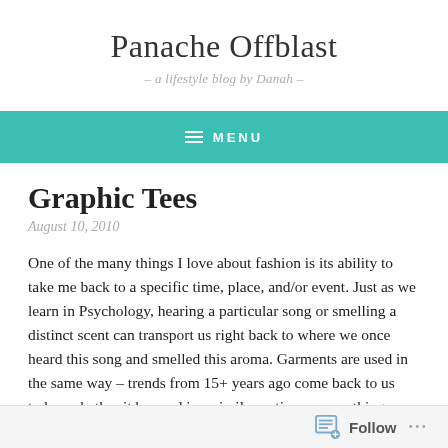Panache Offblast
- a lifestyle blog by Danah -
MENU
Graphic Tees
August 10, 2010
One of the many things I love about fashion is its ability to take me back to a specific time, place, and/or event. Just as we learn in Psychology, hearing a particular song or smelling a distinct scent can transport us right back to where we once heard this song and smelled this aroma. Garments are used in the same way – trends from 15+ years ago come back to us today, whether it be used in a similar notion or something completely different. I found this especially easy to do with graphic tees.
Follow